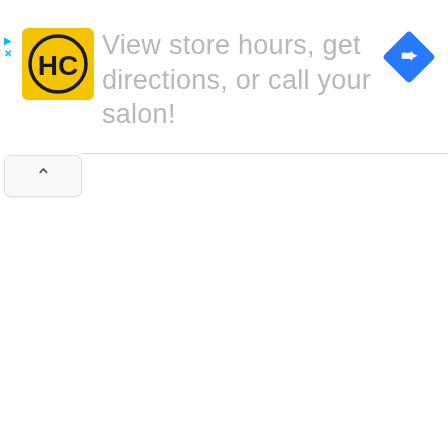[Figure (screenshot): Mobile advertisement banner featuring HC (Hair Club) yellow logo on the left, text 'View store hours, get directions, or call your salon!' in gray in the center, and a blue diamond-shaped navigation arrow icon on the right. Small cyan play and close (x) icons appear at the top-left. A collapse/chevron-up button appears below the banner at the left edge.]